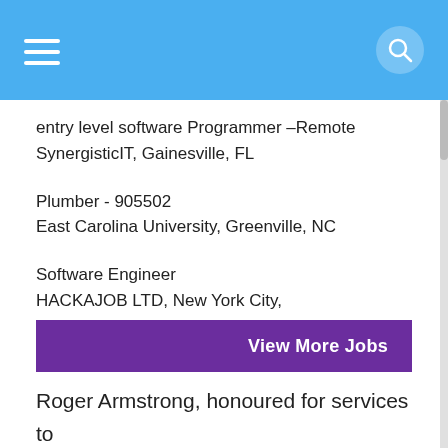entry level software Programmer –Remote
SynergisticIT, Gainesville, FL
Plumber - 905502
East Carolina University, Greenville, NC
Software Engineer
HACKAJOB LTD, New York City,
View More Jobs
Roger Armstrong, honoured for services to storytelling in Northern Ireland with an MBE, is